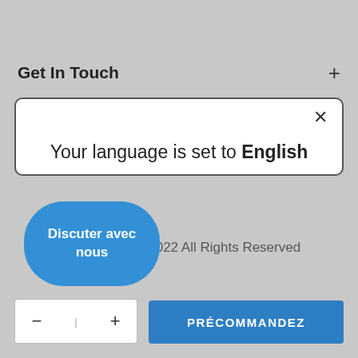Get In Touch
[Figure (screenshot): Modal dialog with white background and border showing language selection. Contains close X button, title 'Your language is set to English', a blue 'Shop in English' button, and an underlined 'Change language' link.]
Your language is set to English
Shop in English
Change language
© 2022  All Rights Reserved
Discuter avec nous
PRÉCOMMANDEZ